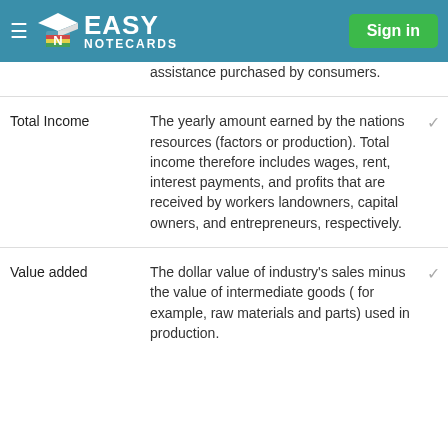Easy Notecards — Sign in
assistance purchased by consumers.
Total Income — The yearly amount earned by the nations resources (factors or production). Total income therefore includes wages, rent, interest payments, and profits that are received by workers landowners, capital owners, and entrepreneurs, respectively.
Value added — The dollar value of industry's sales minus the value of intermediate goods ( for example, raw materials and parts) used in production.